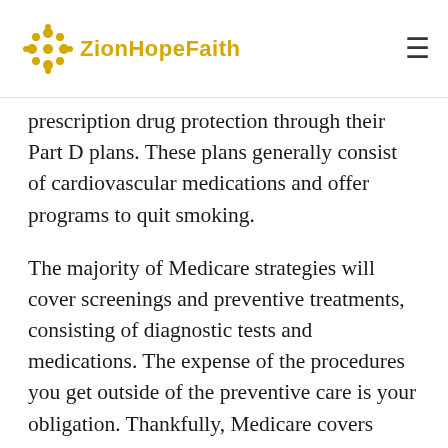ZionHopeFaith
prescription drug protection through their Part D plans. These plans generally consist of cardiovascular medications and offer programs to quit smoking.
The majority of Medicare strategies will cover screenings and preventive treatments, consisting of diagnostic tests and medications. The expense of the procedures you get outside of the preventive care is your obligation. Thankfully, Medicare covers most preventative services and treatments that are important to avoid heart